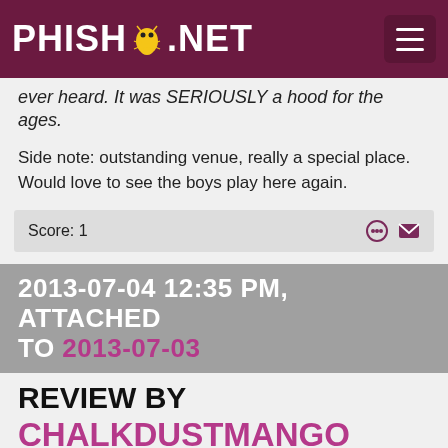PHISH.NET
ever heard. It was SERIOUSLY a hood for the ages.
Side note: outstanding venue, really a special place. Would love to see the boys play here again.
Score: 1
2013-07-04 12:35 PM, ATTACHED TO 2013-07-03
REVIEW BY CHALKDUSTMANGO
Fun show. Nothing too risky though. Antelope was great!
[Figure (illustration): Cartoon avatar of a chef/Popeye-like character holding a pot]
Score: 1